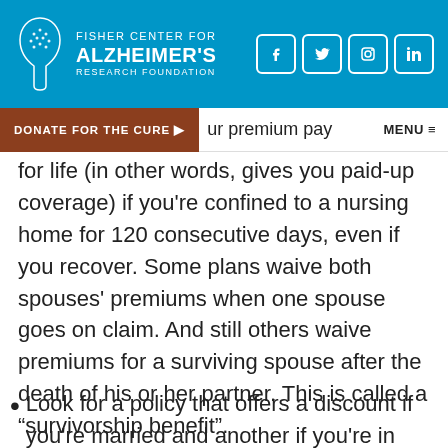Fisher Center for Alzheimer's Research Foundation
DONATE FOR THE CURE | ur premium pay   MENU
for life (in other words, gives you paid-up coverage) if you're confined to a nursing home for 120 consecutive days, even if you recover. Some plans waive both spouses' premiums when one spouse goes on claim. And still others waive premiums for a surviving spouse after the death of his or her partner. This is called a “survivorship benefit”.
Look for a policy that offers a discount if you're married and another if you're in